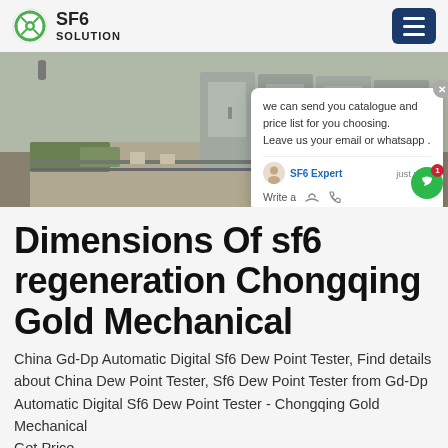SF6 SOLUTION
[Figure (photo): Outdoor industrial SF6 electrical substation cabinets on a paved area with grass and gravel surroundings]
Dimensions Of sf6 regeneration Chongqing Gold Mechanical
China Gd-Dp Automatic Digital Sf6 Dew Point Tester, Find details about China Dew Point Tester, Sf6 Dew Point Tester from Gd-Dp Automatic Digital Sf6 Dew Point Tester - Chongqing Gold Mechanical
Get Price